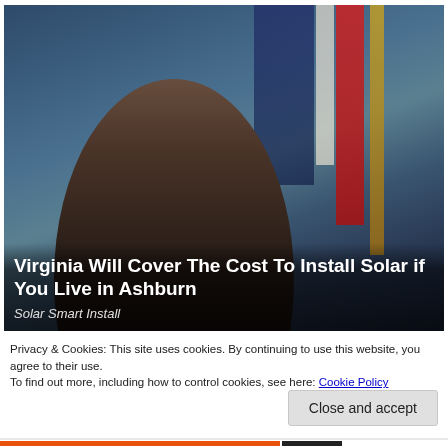[Figure (photo): Photo of a woman with dark hair in a high ponytail, standing in front of American flags against a dark blue background, overlaid with ad headline text and source label]
Virginia Will Cover The Cost To Install Solar if You Live in Ashburn
Solar Smart Install
Privacy & Cookies: This site uses cookies. By continuing to use this website, you agree to their use.
To find out more, including how to control cookies, see here: Cookie Policy